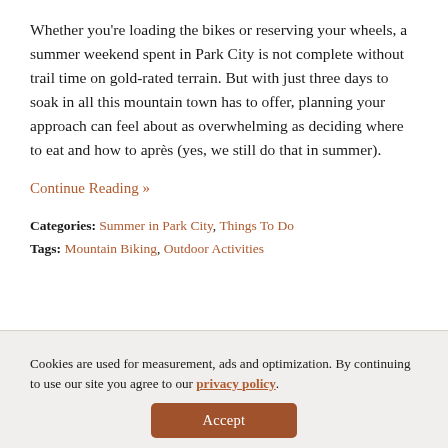Whether you're loading the bikes or reserving your wheels, a summer weekend spent in Park City is not complete without trail time on gold-rated terrain. But with just three days to soak in all this mountain town has to offer, planning your approach can feel about as overwhelming as deciding where to eat and how to après (yes, we still do that in summer).
Continue Reading »
Categories: Summer in Park City, Things To Do
Tags: Mountain Biking, Outdoor Activities
Cookies are used for measurement, ads and optimization. By continuing to use our site you agree to our privacy policy.
Accept